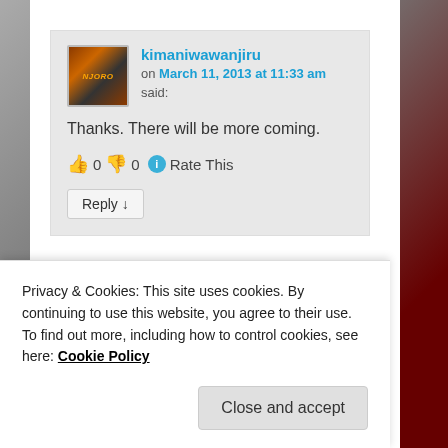kimaniwawanjiru on March 11, 2013 at 11:33 am said:
Thanks. There will be more coming.
👍 0 👎 0 ℹ Rate This
Reply ↓
Privacy & Cookies: This site uses cookies. By continuing to use this website, you agree to their use.
To find out more, including how to control cookies, see here: Cookie Policy
Close and accept